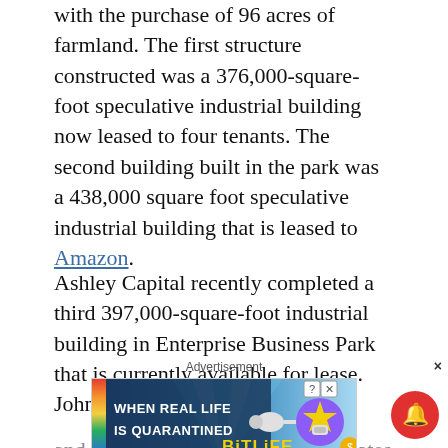with the purchase of 96 acres of farmland. The first structure constructed was a 376,000-square-foot speculative industrial building now leased to four tenants. The second building built in the park was a 438,000 square foot speculative industrial building that is leased to Amazon.
Ashley Capital recently completed a third 397,000-square-foot industrial building in Enterprise Business Park that is currently available for lease. John Sharpe and Tom Parker of Lee and Associates along with T...
Advertisement
[Figure (screenshot): BitLife advertisement banner: rainbow background with text 'WHEN REAL LIFE IS QUARANTINED' on left, BitLife logo with purple star mascot wearing a face mask, and coin emoji on right. Has close (X) and help (?) buttons in top right corner.]